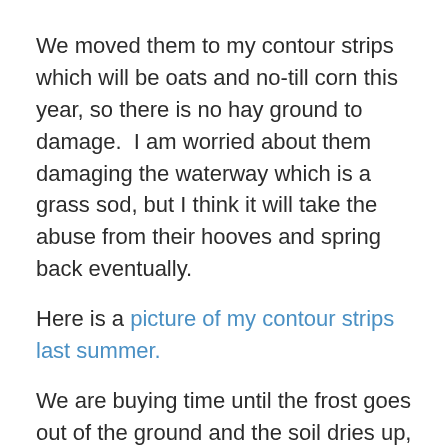We moved them to my contour strips which will be oats and no-till corn this year, so there is no hay ground to damage.  I am worried about them damaging the waterway which is a grass sod, but I think it will take the abuse from their hooves and spring back eventually.
Here is a picture of my contour strips last summer.
We are buying time until the frost goes out of the ground and the soil dries up, hopefully by April.  Because they will be moved into the calving pasture by April, regardless of conditions.
And this brings me to my point.  If you have animals year-around on your farm they always have to be somewhere.  And some days, even months, are not much fun to farm with livestock.